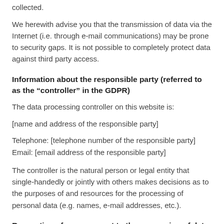collected.
We herewith advise you that the transmission of data via the Internet (i.e. through e-mail communications) may be prone to security gaps. It is not possible to completely protect data against third party access.
Information about the responsible party (referred to as the “controller” in the GDPR)
The data processing controller on this website is:
[name and address of the responsible party]
Telephone: [telephone number of the responsible party]
Email: [email address of the responsible party]
The controller is the natural person or legal entity that single-handedly or jointly with others makes decisions as to the purposes of and resources for the processing of personal data (e.g. names, e-mail addresses, etc.).
Revocation of your consent to the processing of data